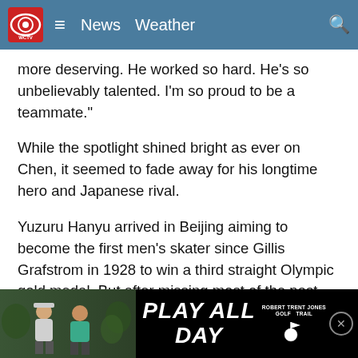WCTV CBS News Weather
more deserving. He worked so hard. He's so unbelievably talented. I'm so proud to be a teammate."
While the spotlight shined bright as ever on Chen, it seemed to fade away for his longtime hero and Japanese rival.
Yuzuru Hanyu arrived in Beijing aiming to become the first men's skater since Gillis Grafstrom in 1928 to win a third straight Olympic gold medal. But after missing most of the past year to an ankle injury, the 27-year-old struggled through his short program on Tuesday, essentially taking him out of contention for a medal.
All that was left for Hanyu was a go-for-broke shot at the quad a... en landed:... uite b...
[Figure (screenshot): Advertisement banner at the bottom: 'PLAY ALL DAY' with Robert Trent Jones Golf Trail logo, photo of people on left, close button on right]